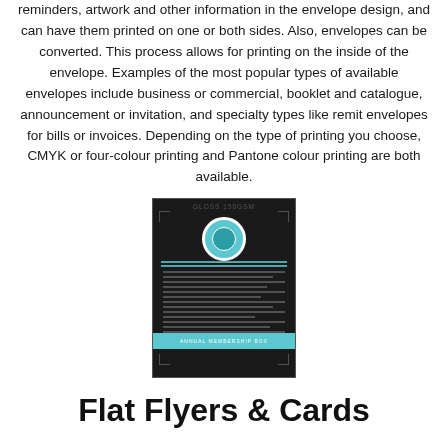reminders, artwork and other information in the envelope design, and can have them printed on one or both sides. Also, envelopes can be converted. This process allows for printing on the inside of the envelope. Examples of the most popular types of available envelopes include business or commercial, booklet and catalogue, announcement or invitation, and specialty types like remit envelopes for bills or invoices. Depending on the type of printing you choose, CMYK or four-colour printing and Pantone colour printing are both available.
[Figure (photo): A dark flyer/card sample labeled 'GLOSS 150GSM' with a teal circle logo, decorative text lines, and a teal banner ribbon at the bottom]
Flat Flyers & Cards